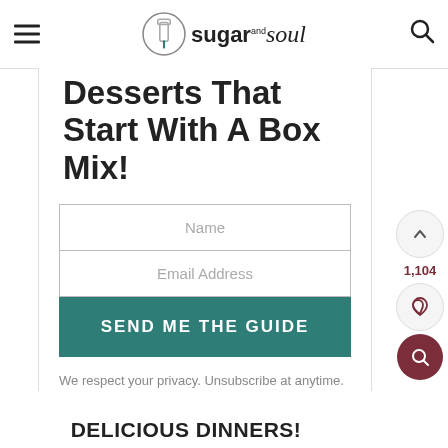sugar and soul
Desserts That Start With A Box Mix!
Name
Email Address
SEND ME THE GUIDE
We respect your privacy. Unsubscribe at anytime.
1,104
DELICIOUS DINNERS!